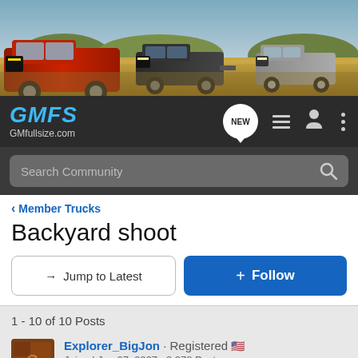[Figure (photo): Header banner showing GM fullsize trucks (red, dark, and silver) in an outdoor desert/field setting]
[Figure (logo): GMFS / GMfullsize.com logo in blue italic text on dark background, with navigation icons (NEW chat bubble, list, user, more)]
[Figure (screenshot): Search Community search bar on dark background]
< Member Trucks
Backyard shoot
→  Jump to Latest
+ Follow
1 - 10 of 10 Posts
Explorer_BigJon · Registered 🇺🇸
Joined Jan 27, 2007 · 2,078 Posts